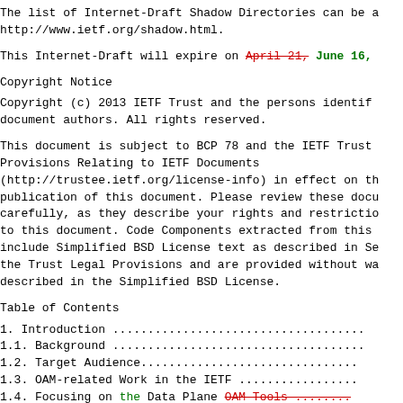The list of Internet-Draft Shadow Directories can be a http://www.ietf.org/shadow.html.
This Internet-Draft will expire on April 21, June 16,
Copyright Notice
Copyright (c) 2013 IETF Trust and the persons identif document authors. All rights reserved.
This document is subject to BCP 78 and the IETF Trust Provisions Relating to IETF Documents (http://trustee.ietf.org/license-info) in effect on th publication of this document. Please review these docu carefully, as they describe your rights and restrictio to this document. Code Components extracted from this include Simplified BSD License text as described in Se the Trust Legal Provisions and are provided without wa described in the Simplified BSD License.
Table of Contents
1. Introduction .......................................
1.1. Background .......................................
1.2. Target Audience...................................
1.3. OAM-related Work in the IETF .....................
1.4. Focusing on the Data Plane OAM Tools .........
2. Terminology .........................................
2.1. Abbreviations .....................................
2.2. Terminology used in OAM Standards .............